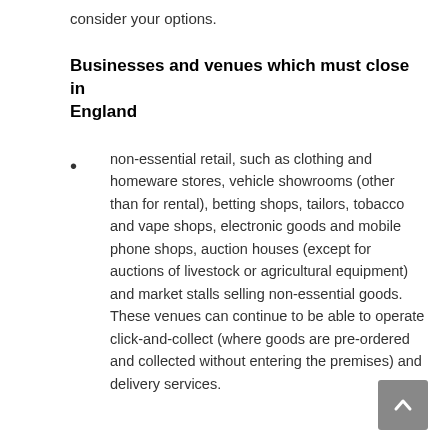consider your options.
Businesses and venues which must close in England
non-essential retail, such as clothing and homeware stores, vehicle showrooms (other than for rental), betting shops, tailors, tobacco and vape shops, electronic goods and mobile phone shops, auction houses (except for auctions of livestock or agricultural equipment) and market stalls selling non-essential goods. These venues can continue to be able to operate click-and-collect (where goods are pre-ordered and collected without entering the premises) and delivery services.